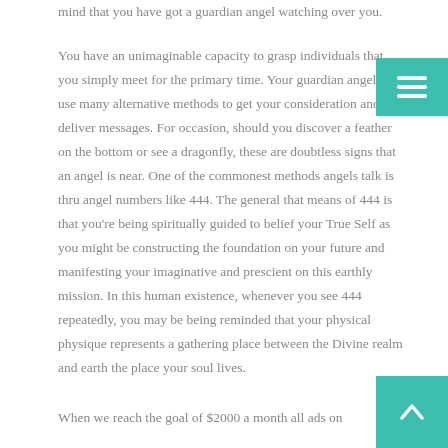mind that you have got a guardian angel watching over you.
You have an unimaginable capacity to grasp individuals that you simply meet for the primary time. Your guardian angel can use many alternative methods to get your consideration and deliver messages. For occasion, should you discover a feather on the bottom or see a dragonfly, these are doubtless signs that an angel is near. One of the commonest methods angels talk is thru angel numbers like 444. The general that means of 444 is that you’re being spiritually guided to belief your True Self as you might be constructing the foundation on your future and manifesting your imaginative and prescient on this earthly mission. In this human existence, whenever you see 444 repeatedly, you may be being reminded that your physical physique represents a gathering place between the Divine realm and earth the place your soul lives.
When we reach the goal of $2000 a month all ads on